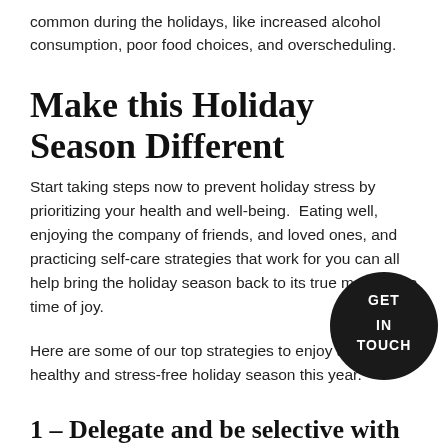common during the holidays, like increased alcohol consumption, poor food choices, and overscheduling.
Make this Holiday Season Different
Start taking steps now to prevent holiday stress by prioritizing your health and well-being.  Eating well, enjoying the company of friends, and loved ones, and practicing self-care strategies that work for you can all help bring the holiday season back to its true meaning: a time of joy.
Here are some of our top strategies to enjoy a happy, healthy and stress-free holiday season this year.
[Figure (logo): Circular black badge with white text reading GET IN TOUCH]
1 – Delegate and be selective with acti....
It's easy to fall into the trap of thinking that you must do